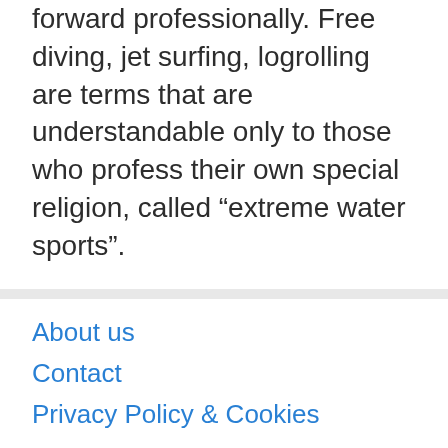forward professionally. Free diving, jet surfing, logrolling are terms that are understandable only to those who profess their own special religion, called “extreme water sports”.
About us
Contact
Privacy Policy & Cookies
ATTENTION TO RIGHT HOLDERS! All materials are posted on the site strictly for informational and educational purposes! If you believe that the posting of any material infringes your copyright, be sure to contact